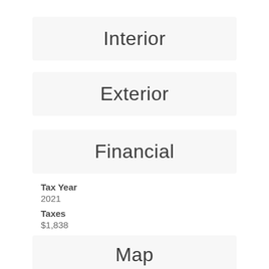Interior
Exterior
Financial
Tax Year
2021
Taxes
$1,838
Map